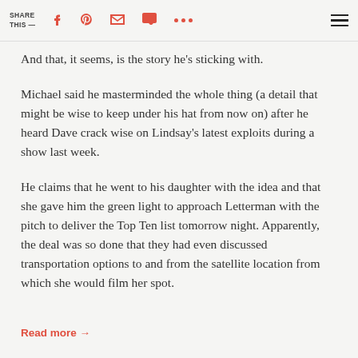SHARE THIS —
And that, it seems, is the story he's sticking with.
Michael said he masterminded the whole thing (a detail that might be wise to keep under his hat from now on) after he heard Dave crack wise on Lindsay's latest exploits during a show last week.
He claims that he went to his daughter with the idea and that she gave him the green light to approach Letterman with the pitch to deliver the Top Ten list tomorrow night. Apparently, the deal was so done that they had even discussed transportation options to and from the satellite location from which she would film her spot.
Read more →